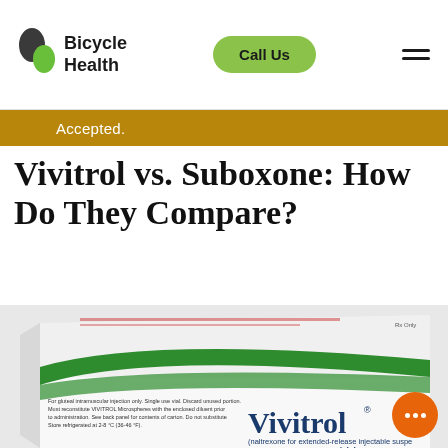Bicycle Health | Call Us
Accepted.
Vivitrol vs. Suboxone: How Do They Compare?
[Figure (photo): Photo of a Vivitrol (naltrexone for extended-release injectable suspension) 380 mg/vial medication box, showing the green and white packaging with the Vivitrol brand name and product details.]